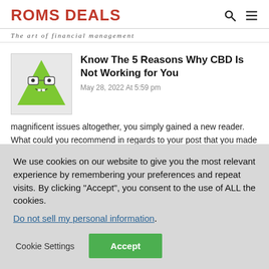ROMS DEALS — The art of financial management
Know The 5 Reasons Why CBD Is Not Working for You
May 28, 2022 At 5:59 pm
magnificent issues altogether, you simply gained a new reader. What could you recommend in regards to your post that you made a few days in the past? Any sure?
We use cookies on our website to give you the most relevant experience by remembering your preferences and repeat visits. By clicking "Accept", you consent to the use of ALL the cookies.
Do not sell my personal information.